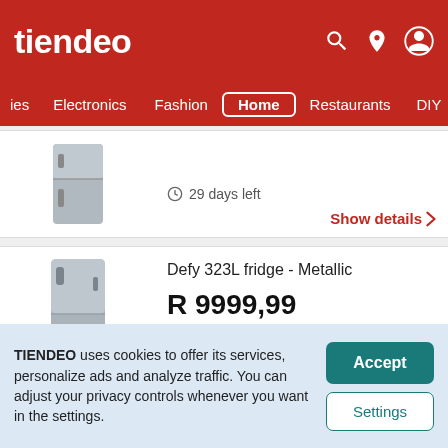tiendeo
ies   Electronics   Fashion   Home   Restaurants   DIY   Sport
29 days left
Show details >
Defy 323L fridge - Metallic
R 9999,99
TIENDEO uses cookies to offer its services, personalize ads and analyze traffic. You can adjust your privacy controls whenever you want in the settings.